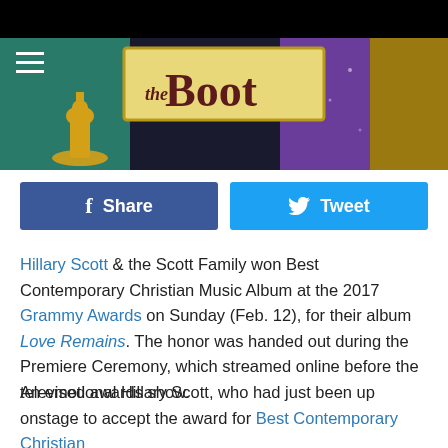[Figure (screenshot): The Boot website header banner with logo on gold/yellow background, hamburger menu icon on left, Grammy statuette silhouette, colorful sparkly background (teal, dark, purple, gold)]
[Figure (infographic): Social sharing buttons: Facebook Share button (dark blue) and Twitter Tweet button (light blue)]
Hillary Scott & the Scott Family won Best Contemporary Christian Music Album at the 2017 Grammy Awards on Sunday (Feb. 12), for their album Love Remains. The honor was handed out during the Premiere Ceremony, which streamed online before the televised awards show.
An emotional Hillary Scott, who had just been up onstage to accept the award for Best Contemporary Christian